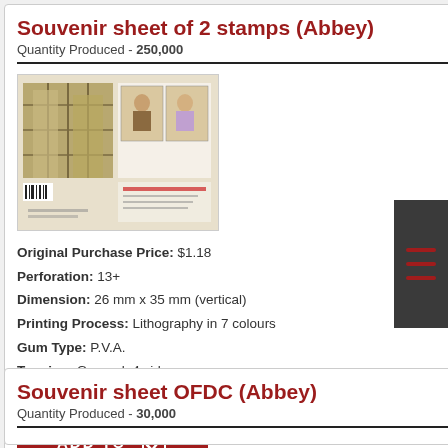Souvenir sheet of 2 stamps (Abbey)
Quantity Produced - 250,000
[Figure (photo): Photo of a souvenir stamp sheet featuring Westminster Abbey and wedding couple stamps]
Original Purchase Price: $1.18
Perforation: 13+
Dimension: 26 mm x 35 mm (vertical)
Printing Process: Lithography in 7 colours
Gum Type: P.V.A.
Tagging: General, 4 sides
Paper: Tullis Russell
Souvenir sheet OFDC (Abbey)
Quantity Produced - 30,000